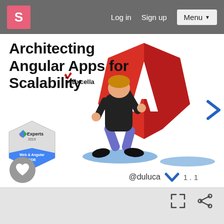S  Log in  Sign up  Menu
Architecting Angular Apps for Scalability
[Figure (illustration): Illustration of a person in black jacket and blue pants pushing a large red Angular logo (shield/gem shape with white A) while kneeling on ground. Excella logo in upper left of illustration. Google Experts 2019 Web & Angular GDE badge on lower left.]
@duluca  1.1
[Figure (screenshot): Bottom panel with expand and share icons on gray background.]